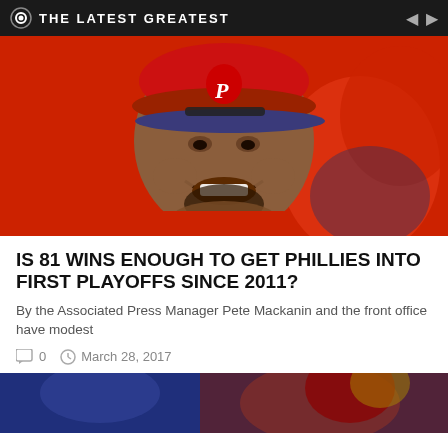THE LATEST GREATEST
[Figure (photo): Smiling Philadelphia Phillies baseball player in red uniform and cap with 'P' logo, close-up photo in dugout with red background]
IS 81 WINS ENOUGH TO GET PHILLIES INTO FIRST PLAYOFFS SINCE 2011?
By the Associated Press Manager Pete Mackanin and the front office have modest
0   March 28, 2017
[Figure (photo): Partial view of another article's photo showing sports players]